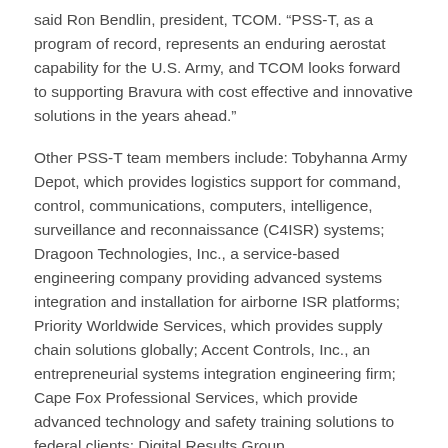said Ron Bendlin, president, TCOM. “PSS-T, as a program of record, represents an enduring aerostat capability for the U.S. Army, and TCOM looks forward to supporting Bravura with cost effective and innovative solutions in the years ahead.”
Other PSS-T team members include: Tobyhanna Army Depot, which provides logistics support for command, control, communications, computers, intelligence, surveillance and reconnaissance (C4ISR) systems; Dragoon Technologies, Inc., a service-based engineering company providing advanced systems integration and installation for airborne ISR platforms;  Priority Worldwide Services, which provides supply chain solutions globally; Accent Controls, Inc., an entrepreneurial systems integration engineering firm; Cape Fox Professional Services, which provide advanced technology and safety training solutions to federal clients; Digital Results Group, which provides knowledge for government technology